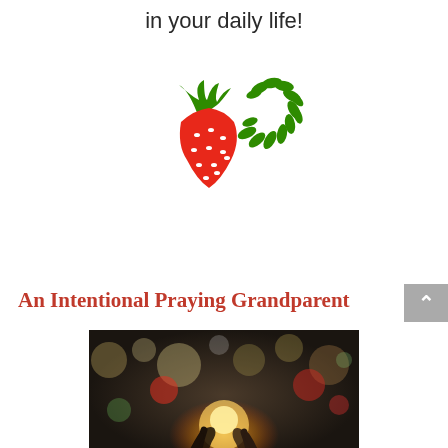in your daily life!
[Figure (logo): Strawberry and leaf/seed logo icon — red strawberry on left, green leaves arranged in a C-shape on right]
An Intentional Praying Grandparent
[Figure (photo): Bokeh dark background photo with hands raised toward a glowing light, colorful out-of-focus circles]